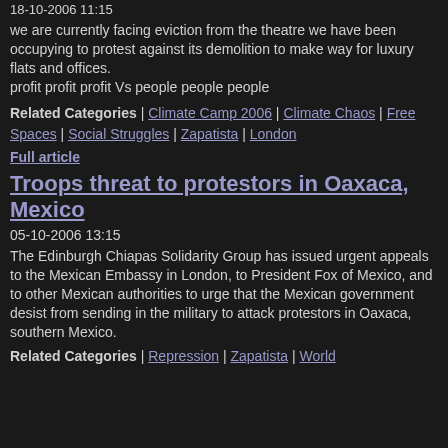18-10-2006 11:15
we are currently facing eviction from the theatre we have been occupying to protest against its demolition to make way for luxury flats and offices.
profit profit profit Vs people people people
Related Categories | Climate Camp 2006 | Climate Chaos | Free Spaces | Social Struggles | Zapatista | London
Full article
Troops threat to protestors in Oaxaca, Mexico
05-10-2006 13:15
The Edinburgh Chiapas Solidarity Group has issued urgent appeals to the Mexican Embassy in London, to President Fox of Mexico, and to other Mexican authorities to urge that the Mexican government desist from sending in the military to attack protestors in Oaxaca, southern Mexico.
Related Categories | Repression | Zapatista | World